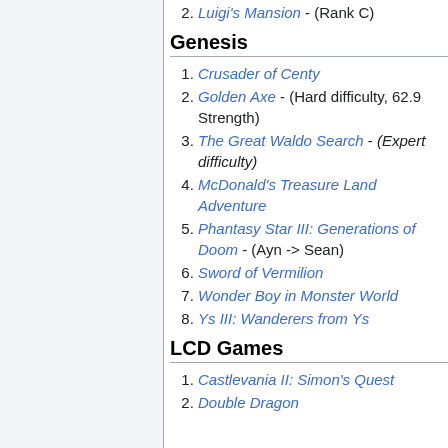2. Luigi's Mansion - (Rank C)
Genesis
1. Crusader of Centy
2. Golden Axe - (Hard difficulty, 62.9 Strength)
3. The Great Waldo Search - (Expert difficulty)
4. McDonald's Treasure Land Adventure
5. Phantasy Star III: Generations of Doom - (Ayn -> Sean)
6. Sword of Vermilion
7. Wonder Boy in Monster World
8. Ys III: Wanderers from Ys
LCD Games
1. Castlevania II: Simon's Quest
2. Double Dragon